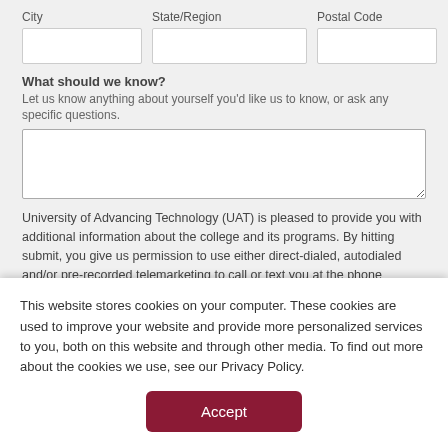City
State/Region
Postal Code
What should we know?
Let us know anything about yourself you'd like us to know, or ask any specific questions.
University of Advancing Technology (UAT) is pleased to provide you with additional information about the college and its programs. By hitting submit, you give us permission to use either direct-dialed, autodialed and/or pre-recorded telemarketing to call or text you at the phone number you provided. Please note that such consent is not required to attend UAT.
This website stores cookies on your computer. These cookies are used to improve your website and provide more personalized services to you, both on this website and through other media. To find out more about the cookies we use, see our Privacy Policy.